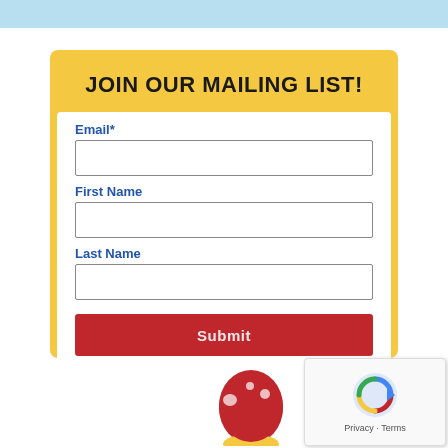[Figure (screenshot): Light blue header bar at the top of the page]
JOIN OUR MAILING LIST!
Email*
First Name
Last Name
Submit
[Figure (illustration): Two cartoon mushroom characters at the bottom – one red and one yellow – partially cropped]
[Figure (screenshot): reCAPTCHA widget with arrow icon and Privacy - Terms text]